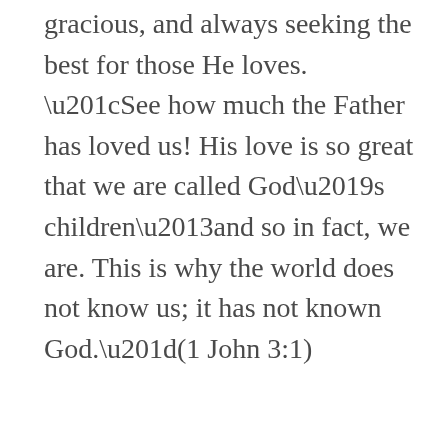gracious, and always seeking the best for those He loves. “See how much the Father has loved us! His love is so great that we are called God’s children–and so in fact, we are. This is why the world does not know us; it has not known God.”(1 John 3:1)